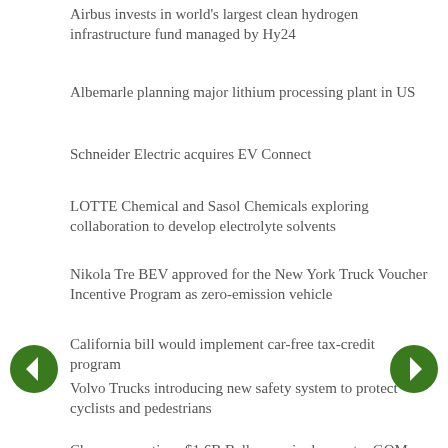Airbus invests in world's largest clean hydrogen infrastructure fund managed by Hy24
Albemarle planning major lithium processing plant in US
Schneider Electric acquires EV Connect
LOTTE Chemical and Sasol Chemicals exploring collaboration to develop electrolyte solvents
Nikola Tre BEV approved for the New York Truck Voucher Incentive Program as zero-emission vehicle
California bill would implement car-free tax-credit program
Volvo Trucks introducing new safety system to protect cyclists and pedestrians
Chevron sanctions $1.6B Ballymore in deepwater GOM; low-cost tieback to add up to 75,000 bpd
IYON enters collaboration agreement with Mitsui on hydrogen fueling
Pacific Basin Shipping, Nihon Shipping and Mitsui...